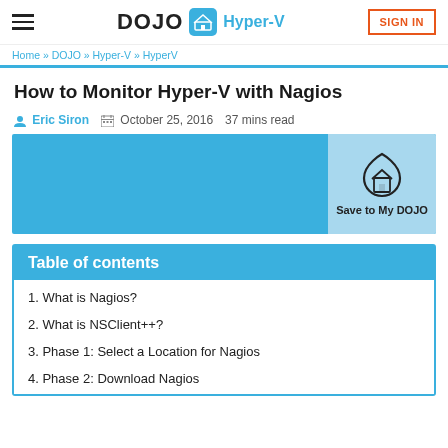DOJO Hyper-V | SIGN IN
Home » DOJO » Hyper-V » HyperV
How to Monitor Hyper-V with Nagios
Eric Siron   October 25, 2016   37 mins read
[Figure (other): Blue feature image banner with a 'Save to My DOJO' button showing a heart with a house icon on a light blue background]
Table of contents
1. What is Nagios?
2. What is NSClient++?
3. Phase 1: Select a Location for Nagios
4. Phase 2: Download Nagios